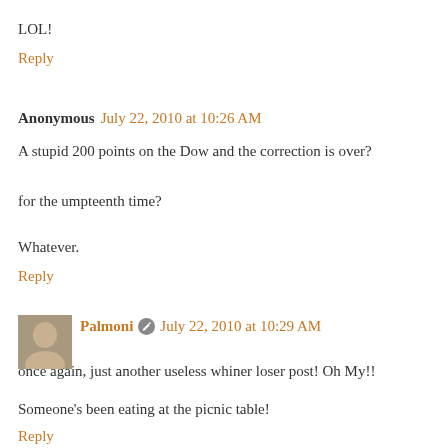LOL!
Reply
Anonymous July 22, 2010 at 10:26 AM
A stupid 200 points on the Dow and the correction is over?
for the umpteenth time?
Whatever.
Reply
Palmoni July 22, 2010 at 10:29 AM
once again, just another useless whiner loser post! Oh My!!
Someone's been eating at the picnic table!
Reply